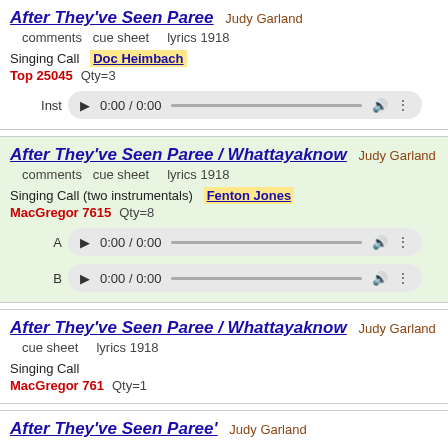After They've Seen Paree  Judy Garland
comments  cue sheet    lyrics 1918
Singing Call  Doc Heimbach
Top 25045   Qty=3
Inst  0:00 / 0:00
After They've Seen Paree / Whattayaknow  Judy Garland
comments  cue sheet    lyrics 1918
Singing Call (two instrumentals)  Fenton Jones
MacGregor 7615   Qty=8
A  0:00 / 0:00
B  0:00 / 0:00
After They've Seen Paree / Whattayaknow  Judy Garland
cue sheet    lyrics 1918
Singing Call
MacGregor 761   Qty=1
After They've Seen Paree'  Judy Garland